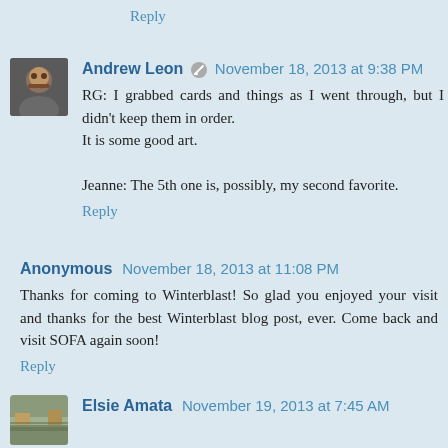Reply
Andrew Leon  November 18, 2013 at 9:38 PM
RG: I grabbed cards and things as I went through, but I didn't keep them in order.
It is some good art.

Jeanne: The 5th one is, possibly, my second favorite.
Reply
Anonymous  November 18, 2013 at 11:08 PM
Thanks for coming to Winterblast! So glad you enjoyed your visit and thanks for the best Winterblast blog post, ever. Come back and visit SOFA again soon!
Reply
Elsie Amata  November 19, 2013 at 7:45 AM